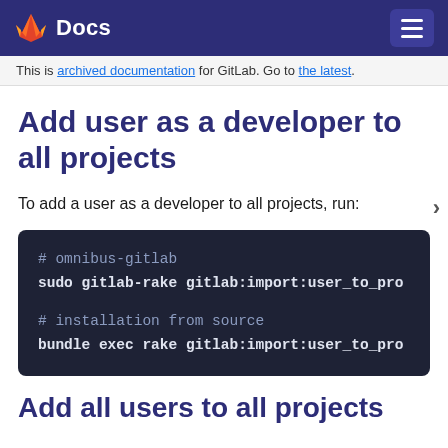Docs
This is archived documentation for GitLab. Go to the latest.
Add user as a developer to all projects
To add a user as a developer to all projects, run:
[Figure (screenshot): Code block showing two commands: '# omnibus-gitlab' with 'sudo gitlab-rake gitlab:import:user_to_pro' and '# installation from source' with 'bundle exec rake gitlab:import:user_to_pro']
Add all users to all projects